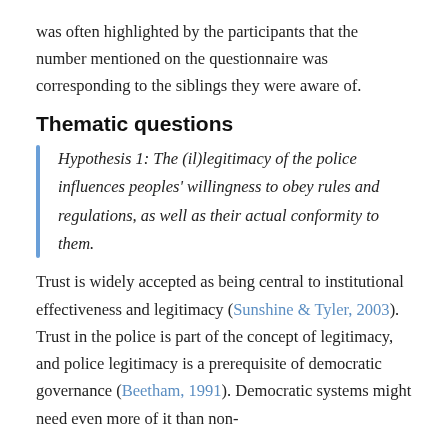was often highlighted by the participants that the number mentioned on the questionnaire was corresponding to the siblings they were aware of.
Thematic questions
Hypothesis 1: The (il)legitimacy of the police influences peoples' willingness to obey rules and regulations, as well as their actual conformity to them.
Trust is widely accepted as being central to institutional effectiveness and legitimacy (Sunshine & Tyler, 2003). Trust in the police is part of the concept of legitimacy, and police legitimacy is a prerequisite of democratic governance (Beetham, 1991). Democratic systems might need even more of it than non-